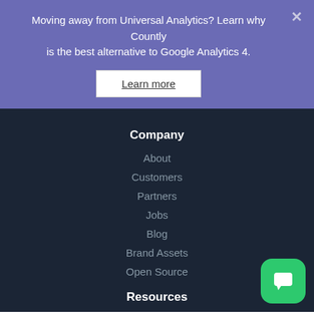Moving away from Universal Analytics? Learn why Countly is the best alternative to Google Analytics 4.
Learn more
Company
About
Customers
Partners
Jobs
Blog
Brand Assets
Open Source
Resources
Documenta...